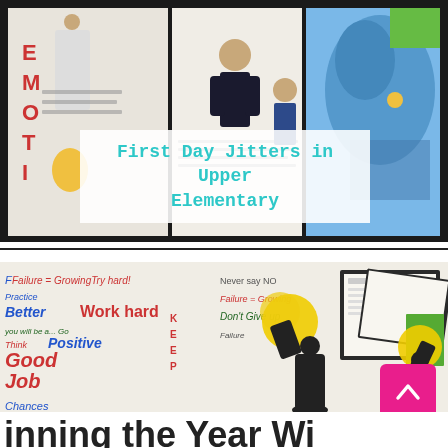[Figure (photo): Collage of classroom photos showing student work related to 'First Day Jitters' book activities and a blue bird illustration]
First Day Jitters in Upper Elementary
[Figure (photo): Classroom photo of a growth mindset word wall with colorful words, student silhouettes holding yellow pom-poms, and framed worksheet photos on a bulletin board]
inning the Year Wi...